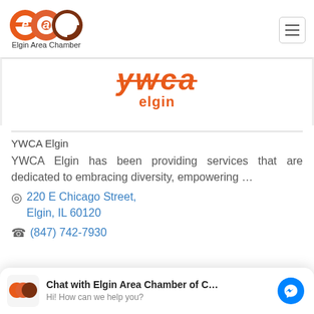[Figure (logo): Elgin Area Chamber (EAC) logo — three overlapping orange/brown circles with lowercase letters e, a, c, and text 'Elgin Area Chamber' below]
[Figure (logo): YWCA Elgin logo — large orange italic strikethrough text 'ywca' with 'elgin' below in orange]
YWCA Elgin
YWCA Elgin has been providing services that are dedicated to embracing diversity, empowering …
220 E Chicago Street, Elgin, IL 60120
(847) 742-7930
Chat with Elgin Area Chamber of C… Hi! How can we help you?